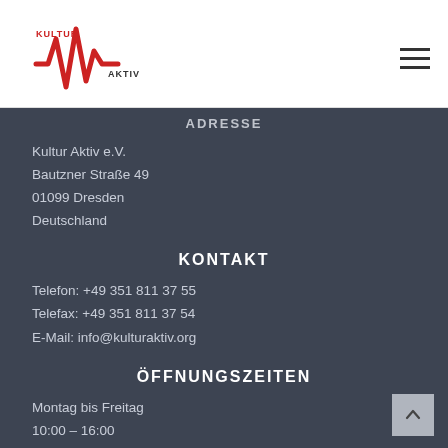[Figure (logo): Kultur Aktiv logo with red wave/soundwave graphic and text KULTUR AKTIV]
ADRESSE
Kultur Aktiv e.V.
Bautzner Straße 49
01099 Dresden
Deutschland
KONTAKT
Telefon: +49 351 811 37 55
Telefax: +49 351 811 37 54
E-Mail: info@kulturaktiv.org
ÖFFNUNGSZEITEN
Montag bis Freitag
10:00 – 16:00